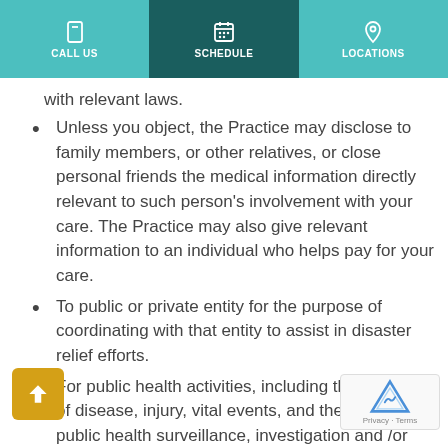CALL US | SCHEDULE | LOCATIONS
with relevant laws.
Unless you object, the Practice may disclose to family members, or other relatives, or close personal friends the medical information directly relevant to such person's involvement with your care. The Practice may also give relevant information to an individual who helps pay for your care.
To public or private entity for the purpose of coordinating with that entity to assist in disaster relief efforts.
For public health activities, including the reporting of disease, injury, vital events, and the conduct of public health surveillance, investigation and /or intervention, or to a health oversight agency for oversight activities authorized by law, including audits, investigations, inspections, licensure or